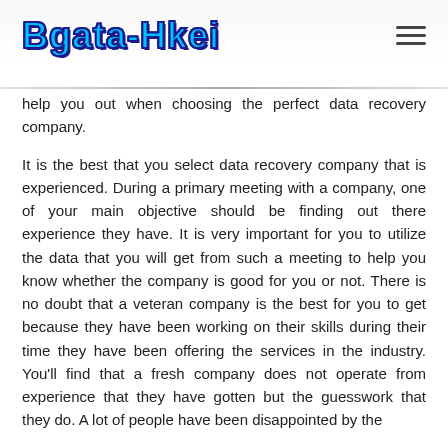Bgata-Hkei
help you out when choosing the perfect data recovery company.
It is the best that you select data recovery company that is experienced. During a primary meeting with a company, one of your main objective should be finding out there experience they have. It is very important for you to utilize the data that you will get from such a meeting to help you know whether the company is good for you or not. There is no doubt that a veteran company is the best for you to get because they have been working on their skills during their time they have been offering the services in the industry. You'll find that a fresh company does not operate from experience that they have gotten but the guesswork that they do. A lot of people have been disappointed by the